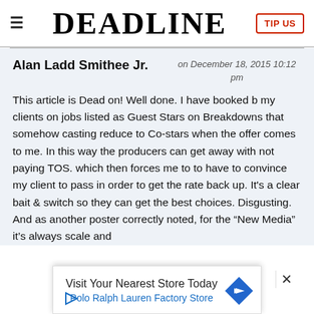≡  DEADLINE  TIP US
Alan Ladd Smithee Jr.
on December 18, 2015 10:12 pm
This article is Dead on! Well done. I have booked b my clients on jobs listed as Guest Stars on Breakdowns that somehow casting reduce to Co-stars when the offer comes to me. In this way the producers can get away with not paying TOS. which then forces me to to have to convince my client to pass in order to get the rate back up. It's a clear bait & switch so they can get the best choices. Disgusting. And as another poster correctly noted, for the "New Media" it's always scale and
[Figure (infographic): Advertisement banner: Visit Your Nearest Store Today - Polo Ralph Lauren Factory Store, with a blue diamond navigation arrow icon and a play button.]